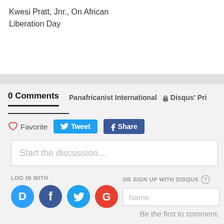Kwesi Pratt, Jnr., On African Liberation Day
0 Comments   Panafricanist International   🔒 Disqus' Pri
♡ Favorite   Tweet   Share
Start the discussion…
LOG IN WITH
OR SIGN UP WITH DISQUS ?
Name
Be the first to comment.